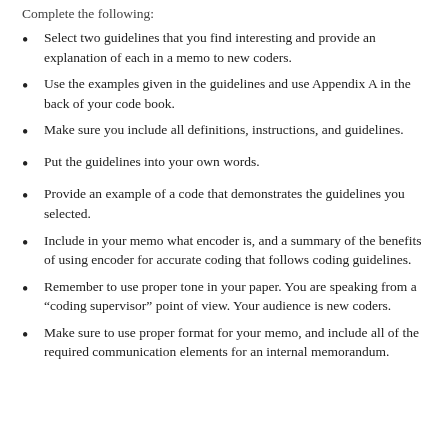Complete the following:
Select two guidelines that you find interesting and provide an explanation of each in a memo to new coders.
Use the examples given in the guidelines and use Appendix A in the back of your code book.
Make sure you include all definitions, instructions, and guidelines.
Put the guidelines into your own words.
Provide an example of a code that demonstrates the guidelines you selected.
Include in your memo what encoder is, and a summary of the benefits of using encoder for accurate coding that follows coding guidelines.
Remember to use proper tone in your paper. You are speaking from a “coding supervisor” point of view. Your audience is new coders.
Make sure to use proper format for your memo, and include all of the required communication elements for an internal memorandum.